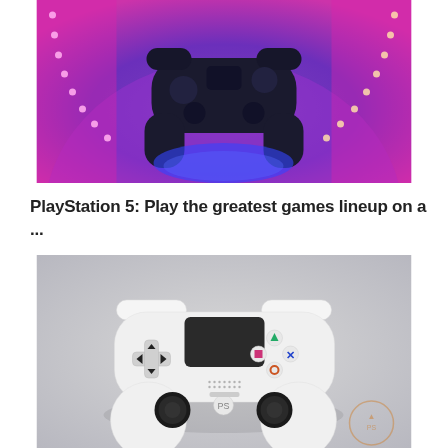[Figure (photo): PlayStation controller glowing with neon pink and purple lighting against a vibrant purple background with LED strip lights on the sides]
PlayStation 5: Play the greatest games lineup on a ...
[Figure (photo): White PlayStation DualShock 4 controller on a light grey surface, shot from above. A faint circular watermark/logo is visible in the bottom right corner.]